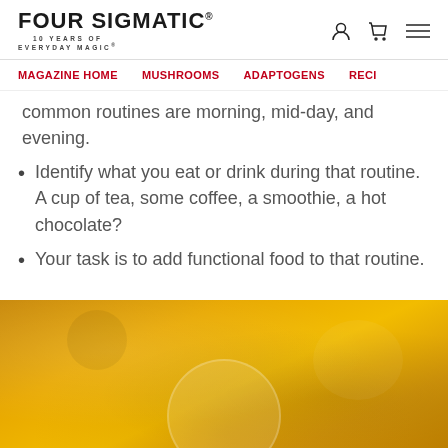FOUR SIGMATIC® — 10 YEARS OF EVERYDAY MAGIC®
MAGAZINE HOME   MUSHROOMS   ADAPTOGENS   RECI...
common routines are morning, mid-day, and evening.
Identify what you eat or drink during that routine. A cup of tea, some coffee, a smoothie, a hot chocolate?
Your task is to add functional food to that routine.
[Figure (photo): Yellow/golden background photo showing a cup or bowl, likely containing a golden latte or similar beverage from Four Sigmatic]